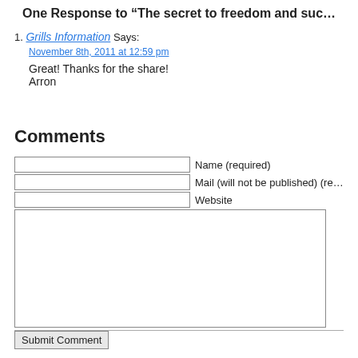One Response to “The secret to freedom and suc…”
1. Grills Information Says:
November 8th, 2011 at 12:59 pm
Great! Thanks for the share!
Arron
Comments
Name (required)
Mail (will not be published) (re…)
Website
Submit Comment